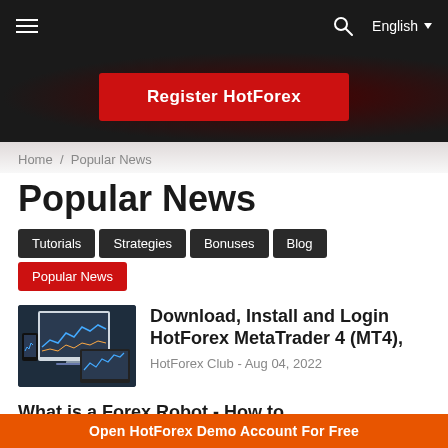≡  🔍  English ▼
[Figure (other): Register HotForex button banner with dark red gradient background]
Home / Popular News
Popular News
Tutorials
Strategies
Bonuses
Blog
Popular News
[Figure (screenshot): Screenshot of HotForex MetaTrader 4 on desktop, tablet and mobile devices]
Download, Install and Login HotForex MetaTrader 4 (MT4),
HotForex Club - Aug 04, 2022
What is a Forex Robot - How to Forex Trading Robot is
Open HotForex Demo Account For Free